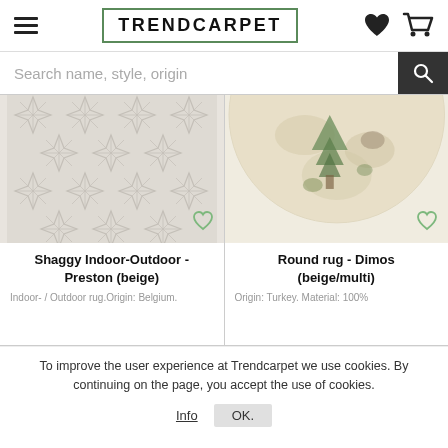TRENDCARPET
[Figure (screenshot): Search input bar with placeholder text 'Search name, style, origin' and a dark search button]
[Figure (photo): Shaggy Indoor-Outdoor rug Preston beige with geometric leaf pattern]
[Figure (photo): Round rug Dimos beige/multi with tree motif on sand-colored background]
Shaggy Indoor-Outdoor - Preston (beige)
Indoor- / Outdoor rug.Origin: Belgium.
Round rug - Dimos (beige/multi)
Origin: Turkey. Material: 100%
To improve the user experience at Trendcarpet we use cookies. By continuing on the page, you accept the use of cookies.